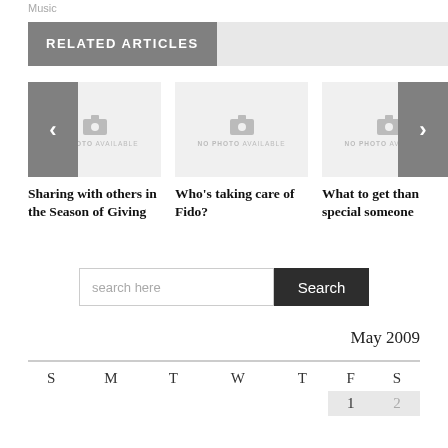Music
RELATED ARTICLES
[Figure (screenshot): Carousel of three article cards each with a 'NO PHOTO AVAILABLE' placeholder image. Left nav arrow shows '<' and right nav arrow shows '>'. Articles: 'Sharing with others in the Season of Giving', 'Who's taking care of Fido?', 'What to get than special someone'.]
Sharing with others in the Season of Giving
Who's taking care of Fido?
What to get than special someone
search here
May 2009
| S | M | T | W | T | F | S |
| --- | --- | --- | --- | --- | --- | --- |
|  |  |  |  |  | 1 | 2 |